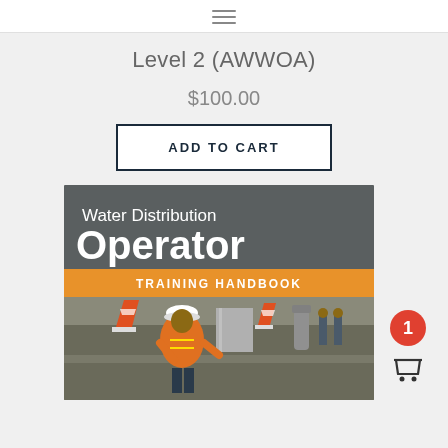≡ (navigation menu icon)
Level 2 (AWWOA)
$100.00
ADD TO CART
[Figure (photo): Book cover: Water Distribution Operator Training Handbook, showing a worker in an orange safety vest and white hard hat working on a pipe at a construction site, with orange traffic cones in the background.]
1 (cart badge)